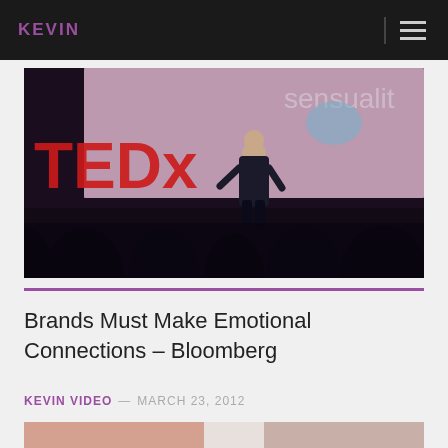KEVIN
[Figure (photo): TEDx stage photo showing a bald male speaker in dark clothing on a darkened stage with a large projection screen behind showing the word 'sensuality' and TEDx branding in red letters on the left. Audience silhouettes visible in the foreground.]
Brands Must Make Emotional Connections – Bloomberg
KEVIN VIDEO — MARCH 23, 2012
[Figure (photo): Partial bottom image strip showing a close-up of a person's face, cropped at the bottom of the page.]